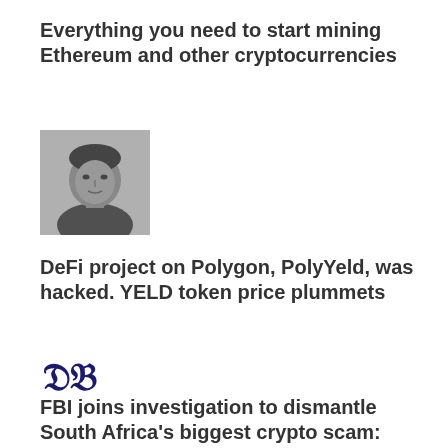Everything you need to start mining Ethereum and other cryptocurrencies
[Figure (photo): Grayscale portrait photo of a man]
DeFi project on Polygon, PolyYeld, was hacked. YELD token price plummets
[Figure (logo): DB logo in gothic/blackletter style, dark navy blue]
FBI joins investigation to dismantle South Africa's biggest crypto scam: Mirror Trading
[Figure (photo): Grayscale portrait photo of a woman with curly hair]
Cross-chain protocol Poly Network suffers